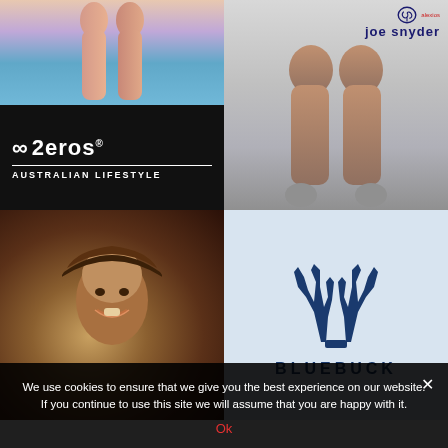[Figure (logo): 2eros Australian Lifestyle brand logo on black background with photo of legs near water above it]
[Figure (logo): Joe Snyder brand logo with antler/shield icon and red alexios text, with photo of bare legs below]
[Figure (photo): Photo of a young man smiling and wearing a brown hat]
[Figure (logo): Bluebuck brand logo showing antler icon in dark blue on light blue background with BLUEBUCK text]
We use cookies to ensure that we give you the best experience on our website. If you continue to use this site we will assume that you are happy with it.
Ok